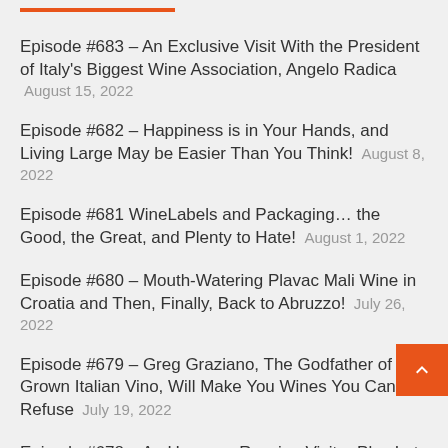Episode #683 – An Exclusive Visit With the President of Italy's Biggest Wine Association, Angelo Radica August 15, 2022
Episode #682 – Happiness is in Your Hands, and Living Large May be Easier Than You Think! August 8, 2022
Episode #681 WineLabels and Packaging… the Good, the Great, and Plenty to Hate! August 1, 2022
Episode #680 – Mouth-Watering Plavac Mali Wine in Croatia and Then, Finally, Back to Abruzzo! July 26, 2022
Episode #679 – Greg Graziano, The Godfather of US-Grown Italian Vino, Will Make You Wines You Can't Refuse July 19, 2022
Episode #678 – An Uncanny Russian Visitor Plus Lots